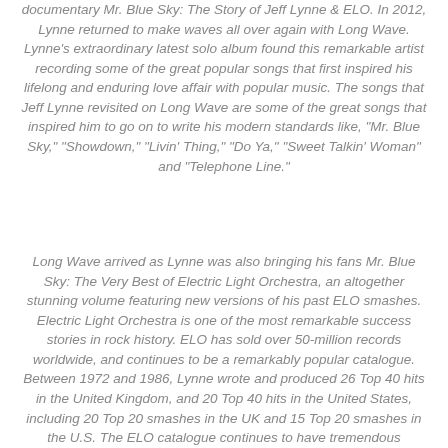documentary Mr. Blue Sky: The Story of Jeff Lynne & ELO. In 2012, Lynne returned to make waves all over again with Long Wave. Lynne's extraordinary latest solo album found this remarkable artist recording some of the great popular songs that first inspired his lifelong and enduring love affair with popular music. The songs that Jeff Lynne revisited on Long Wave are some of the great songs that inspired him to go on to write his modern standards like, "Mr. Blue Sky," "Showdown," "Livin' Thing," "Do Ya," "Sweet Talkin' Woman" and "Telephone Line."
Long Wave arrived as Lynne was also bringing his fans Mr. Blue Sky: The Very Best of Electric Light Orchestra, an altogether stunning volume featuring new versions of his past ELO smashes. Electric Light Orchestra is one of the most remarkable success stories in rock history. ELO has sold over 50-million records worldwide, and continues to be a remarkably popular catalogue. Between 1972 and 1986, Lynne wrote and produced 26 Top 40 hits in the United Kingdom, and 20 Top 40 hits in the United States, including 20 Top 20 smashes in the UK and 15 Top 20 smashes in the U.S. The ELO catalogue continues to have tremendous